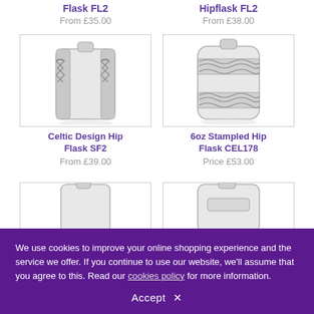Flask FL2
From £35.00
Hipflask FL2
From £38.00
[Figure (photo): Silver Celtic Design Hip Flask SF2 with ornate side panels]
[Figure (photo): 6oz Stampled Hip Flask CEL178 with engraved band design]
Celtic Design Hip Flask SF2
From £39.00
6oz Stampled Hip Flask CEL178
Price £53.00
[Figure (photo): Partially visible hip flask at bottom left]
[Figure (photo): Partially visible hip flask at bottom right]
We use cookies to improve your online shopping experience and the service we offer. If you continue to use our website, we'll assume that you agree to this. Read our cookies policy for more information.
Accept ✕